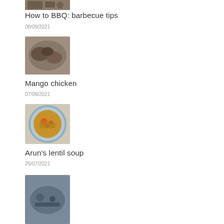[Figure (photo): Partial food photo at top (barbecue/grilling related)]
How to BBQ: barbecue tips
08/09/2021
[Figure (photo): Mango chicken dish on a plate]
Mango chicken
07/09/2021
[Figure (photo): Bowl of lentil soup with tomatoes]
Arun's lentil soup
25/07/2021
[Figure (photo): Partial food photo at bottom]